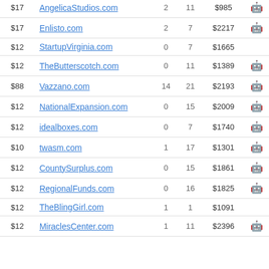| Price | Domain | N1 | N2 | Value | Icon |
| --- | --- | --- | --- | --- | --- |
| $17 | AngelicaStudios.com | 2 | 11 | $985 | robot |
| $17 | Enlisto.com | 2 | 7 | $2217 | robot |
| $12 | StartupVirginia.com | 0 | 7 | $1665 |  |
| $12 | TheButterscotch.com | 0 | 11 | $1389 | robot |
| $88 | Vazzano.com | 14 | 21 | $2193 | robot |
| $12 | NationalExpansion.com | 0 | 15 | $2009 | robot |
| $12 | idealboxes.com | 0 | 7 | $1740 | robot |
| $10 | twasm.com | 1 | 17 | $1301 | robot |
| $12 | CountySurplus.com | 0 | 15 | $1861 | robot |
| $12 | RegionalFunds.com | 0 | 16 | $1825 | robot |
| $12 | TheBlingGirl.com | 1 | 1 | $1091 |  |
| $12 | MiraclesCenter.com | 1 | 11 | $2396 | robot |